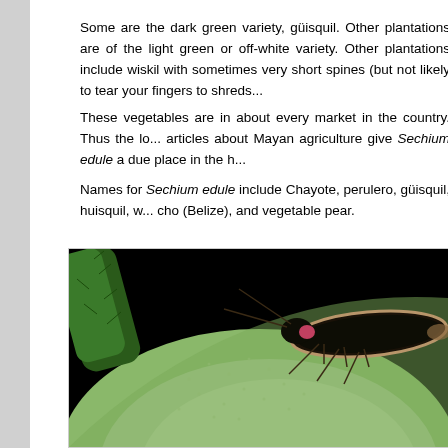Some are the dark green variety, güisquil. Other plantations are of the light green or off-white variety. Other plantations include wiskil with sometimes very short spines (but not likely to tear your fingers to shreds...
These vegetables are in about every market in the country. Thus the lo... articles about Mayan agriculture give Sechium edule a due place in the h...
Names for Sechium edule include Chayote, perulero, güisquil, huisquil, w... cho (Belize), and vegetable pear.
[Figure (photo): Close-up photograph of a beetle/firefly insect resting on a green chayote fruit (Sechium edule). The insect is dark brown/black with lighter wing edges and long antennae. The fruit surface is light green and fuzzy/hairy. Background is black.]